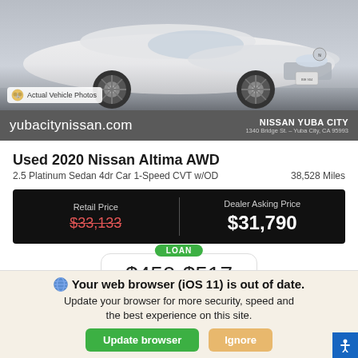[Figure (photo): White Nissan Altima AWD car photo, front quarter view against gray background]
Actual Vehicle Photos
yubacitynissan.com
NISSAN YUBA CITY
1340 Bridge St. – Yuba City, CA 95993
Used 2020 Nissan Altima AWD
2.5 Platinum Sedan 4dr Car 1-Speed CVT w/OD	38,528 Miles
| Retail Price | Dealer Asking Price |
| --- | --- |
| $33,133 | $31,790 |
LOAN
$450-$517
GET PERSONALIZED PAYMENTS NOW!
Your web browser (iOS 11) is out of date.
Update your browser for more security, speed and the best experience on this site.
Update browser
Ignore